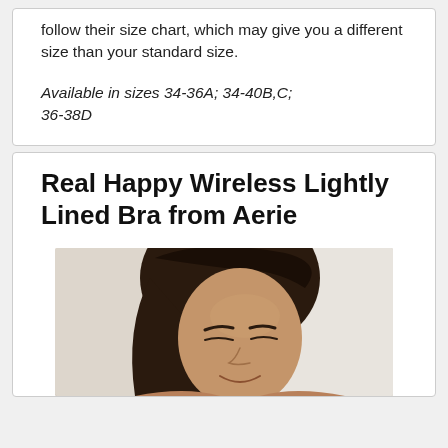follow their size chart, which may give you a different size than your standard size.
Available in sizes 34-36A; 34-40B,C; 36-38D
Real Happy Wireless Lightly Lined Bra from Aerie
[Figure (photo): Photo of a woman with dark hair, smiling slightly, shown from the shoulders up against a light background.]